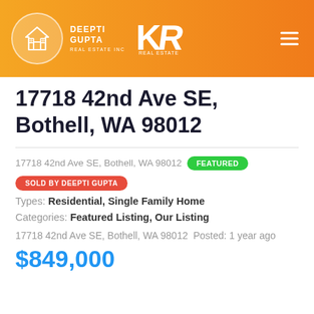Deepti Gupta Real Estate Inc / KR Real Estate
17718 42nd Ave SE, Bothell, WA 98012
17718 42nd Ave SE, Bothell, WA 98012  FEATURED
SOLD BY DEEPTI GUPTA
Types: Residential, Single Family Home
Categories: Featured Listing, Our Listing
17718 42nd Ave SE, Bothell, WA 98012 Posted: 1 year ago
$849,000